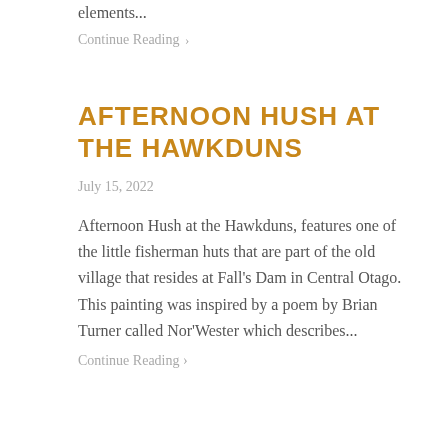elements...
Continue Reading ›
AFTERNOON HUSH AT THE HAWKDUNS
July 15, 2022
Afternoon Hush at the Hawkduns, features one of the little fisherman huts that are part of the old village that resides at Fall's Dam in Central Otago. This painting was inspired by a poem by Brian Turner called Nor'Wester which describes...
Continue Reading ›